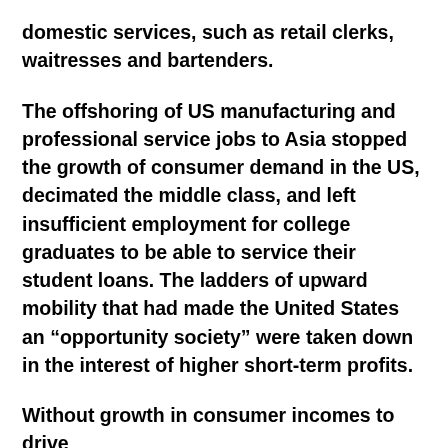domestic services, such as retail clerks, waitresses and bartenders.
The offshoring of US manufacturing and professional service jobs to Asia stopped the growth of consumer demand in the US, decimated the middle class, and left insufficient employment for college graduates to be able to service their student loans. The ladders of upward mobility that had made the United States an “opportunity society” were taken down in the interest of higher short-term profits.
Without growth in consumer incomes to drive